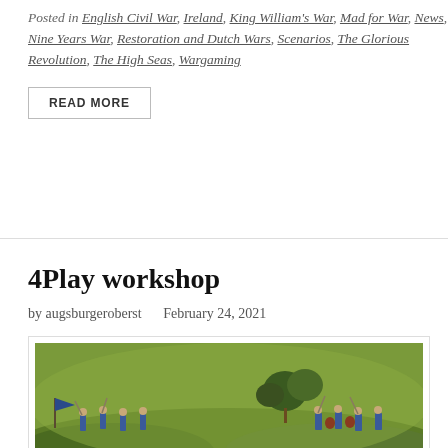Posted in English Civil War, Ireland, King William's War, Mad for War, News, Nine Years War, Restoration and Dutch Wars, Scenarios, The Glorious Revolution, The High Seas, Wargaming
READ MORE
4Play workshop
by augsburgeroberst   February 24, 2021
[Figure (photo): Miniature wargaming figures of soldiers in blue uniforms with pikes and muskets, posed on a green grassy terrain with trees in the background]